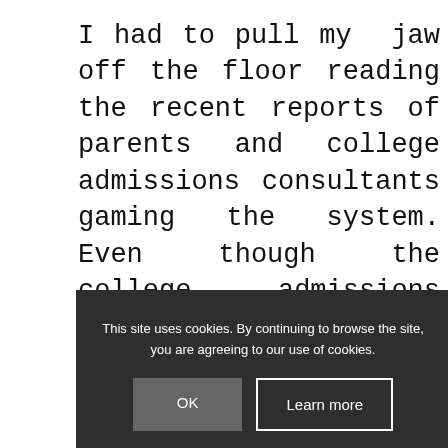I had to pull my jaw off the floor reading the recent reports of parents and college admissions consultants gaming the system. Even though the college admissions process has never been 'fair,' the hacks these people created stooped to a whole new level. I should qualify this post with the fact that as a fourth […]
This site uses cookies. By continuing to browse the site, you are agreeing to our use of cookies.
The following article was originally